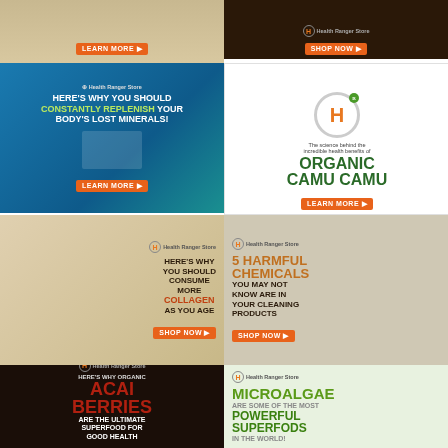[Figure (photo): Health Ranger Store ad - top left partial, LEARN MORE button, food/powder image]
[Figure (photo): Health Ranger Store ad - top right partial, HEALTH BENEFITS!, SHOP NOW button, chia seeds]
[Figure (photo): Health Ranger Store ad - HERE'S WHY YOU SHOULD CONSTANTLY REPLENISH YOUR BODY'S LOST MINERALS! LEARN MORE button, woman running]
[Figure (photo): Health Ranger Store ad - Organic Camu Camu, The science behind the incredible health benefits of ORGANIC CAMU CAMU, LEARN MORE button]
[Figure (photo): Health Ranger Store ad - HERE'S WHY YOU SHOULD CONSUME MORE COLLAGEN AS YOU AGE, SHOP NOW button]
[Figure (photo): Health Ranger Store ad - 5 HARMFUL CHEMICALS YOU MAY NOT KNOW ARE IN YOUR CLEANING PRODUCTS, SHOP NOW button]
[Figure (photo): Health Ranger Store ad - HERE'S WHY ORGANIC ACAI BERRIES ARE THE ULTIMATE SUPERFOOD FOR GOOD HEALTH, LEARN MORE button]
[Figure (photo): Health Ranger Store ad - MICROALGAE ARE SOME OF THE MOST POWERFUL SUPERFODS IN THE WORLD!, LEARN MORE button]